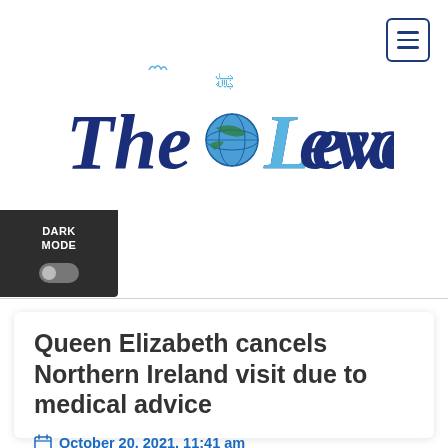[Figure (logo): The Levant newspaper logo in dark blue blackletter/gothic font with a globe icon between 'The' and 'Levant', and Arabic script above. Light blue decorative elements on some letters.]
Queen Elizabeth cancels Northern Ireland visit due to medical advice
October 20, 2021, 11:41 am